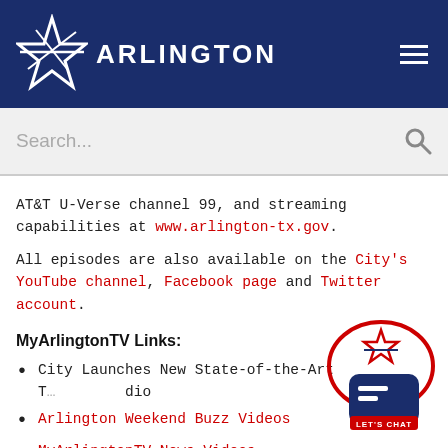Arlington
AT&T U-Verse channel 99, and streaming capabilities at www.arlington-tx.gov.
All episodes are also available on the City's YouTube channel, Facebook page and Twitter account.
MyArlingtonTV Links:
City Launches New State-of-the-Art T... ...dio
Arlington Weekend Buzz Videos
MyArlingtonTV News Videos
[Figure (logo): MyArlington chat badge with star logo and LET'S CHAT button]